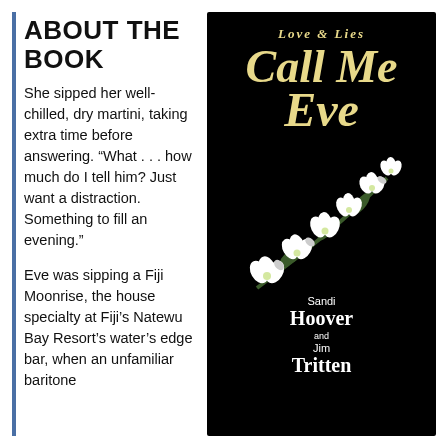ABOUT THE BOOK
She sipped her well-chilled, dry martini, taking extra time before answering. “What . . . how much do I tell him? Just want a distraction. Something to fill an evening.”
Eve was sipping a Fiji Moonrise, the house specialty at Fiji’s Natewu Bay Resort’s water’s edge bar, when an unfamiliar baritone
[Figure (illustration): Book cover for 'Call Me Eve' (Love & Lies series) by Sandi Hoover and Jim Tritten. Black background with a spray of white orchid flowers and gold/yellow cursive title text.]